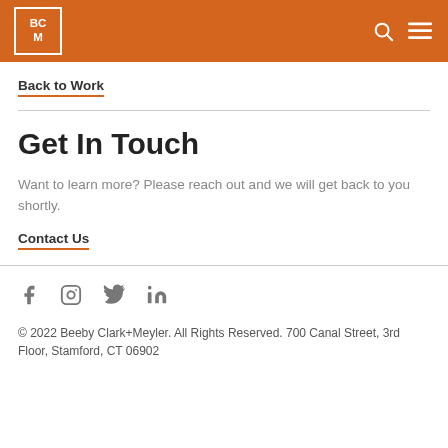BCM
Back to Work
Get In Touch
Want to learn more? Please reach out and we will get back to you shortly.
Contact Us
[Figure (other): Social media icons: Facebook, Instagram, Twitter, LinkedIn]
© 2022 Beeby Clark+Meyler. All Rights Reserved. 700 Canal Street, 3rd Floor, Stamford, CT 06902